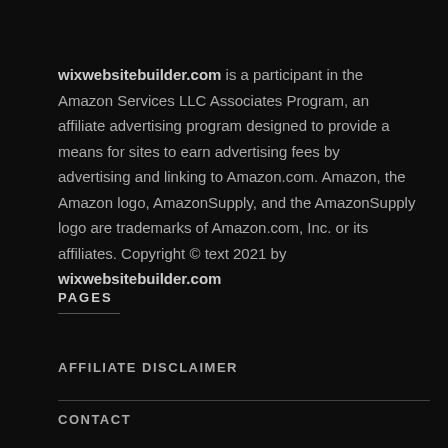wixwebsitebuilder.com is a participant in the Amazon Services LLC Associates Program, an affiliate advertising program designed to provide a means for sites to earn advertising fees by advertising and linking to Amazon.com. Amazon, the Amazon logo, AmazonSupply, and the AmazonSupply logo are trademarks of Amazon.com, Inc. or its affiliates. Copyright © text 2021 by wixwebsitebuilder.com
PAGES
AFFILIATE DISCLAIMER
CONTACT